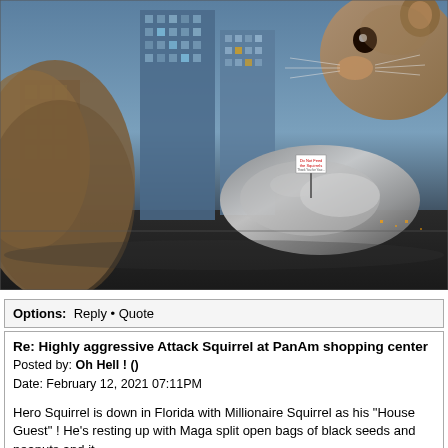[Figure (photo): A humorous composite photo showing a giant squirrel in the foreground interacting with the Chicago Bean (Cloud Gate) sculpture and city skyline. A 'Do Not Feed the Squirrels' sign is visible in the middle ground. The city buildings are lit up in the background at dusk.]
Options: Reply • Quote
Re: Highly aggressive Attack Squirrel at PanAm shopping center
Posted by: Oh Hell ! ()
Date: February 12, 2021 07:11PM
Hero Squirrel is down in Florida with Millionaire Squirrel as his "House Guest" ! He's resting up with Maga split open bags of black seeds and peanuts and it